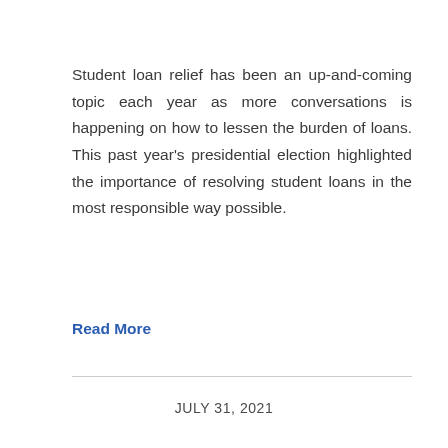Student loan relief has been an up-and-coming topic each year as more conversations is happening on how to lessen the burden of loans. This past year's presidential election highlighted the importance of resolving student loans in the most responsible way possible.
Read More
JULY 31, 2021